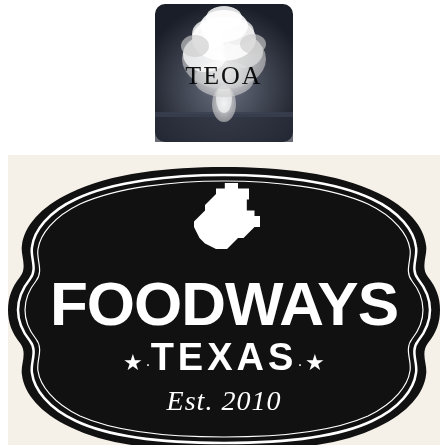[Figure (logo): TEOA logo: black and white photograph of a nuclear mushroom cloud explosion with the text 'TEOA' overlaid in large serif capital letters]
[Figure (logo): Foodways Texas logo: black ornate badge/shield shape with white outline details, white Texas state outline silhouette at top, bold white text 'FOODWAYS' on middle, 'TEXAS' with stars on either side below, and 'Est. 2010' in script at bottom, on a cream/off-white background]